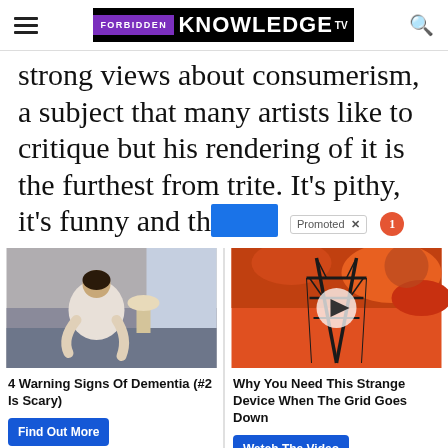FORBIDDEN KNOWLEDGE TV
strong views about consumerism, a subject that many artists like to critique but his rendering of it is the furthest from trite. It’s pithy, it’s funny and th—
[Figure (photo): Person sitting on bed in distress, dementia awareness ad image]
4 Warning Signs Of Dementia (#2 Is Scary)
Find Out More
[Figure (photo): Electricity pylon against orange sunset sky, video thumbnail with play button]
Why You Need This Strange Device When The Grid Goes Down
Watch The Video